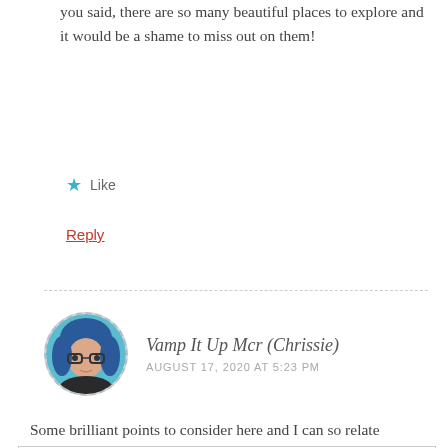you said, there are so many beautiful places to explore and it would be a shame to miss out on them!
Like
Reply
Vamp It Up Mcr (Chrissie)
AUGUST 17, 2020 AT 5:23 PM
Some brilliant points to consider here and I can so relate
Privacy & Cookies: This site uses cookies. By continuing to use this website, you agree to their use. To find out more, including how to control cookies, see here: Cookie Policy
Close and accept
big parks, and we arent that far away from the